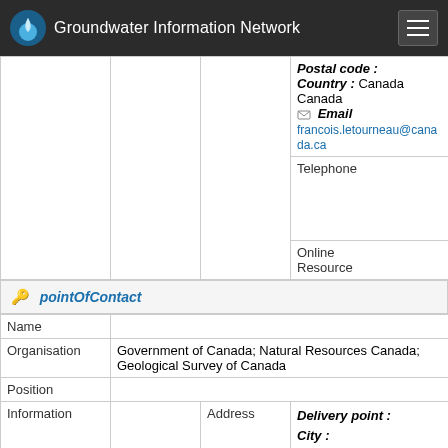Groundwater Information Network
|  |  | Postal code : |  |
|  |  | Country : | Canada Canada |
|  |  | Email | francois.letourneau@canada.ca |
|  | Telephone |  | voice; 1 (418) 6543826 |
|  | Online Resource |  |  |
pointOfContact
| Name |  |
| Organisation | Government of Canada; Natural Resources Canada; Geological Survey of Canada |
| Position |  |
| Information | Address | Delivery point :
City :
Administrative region :
Postal code :
Country :
Email nrcan.gsc-geosciencedata-donneesgeoscience-cgc.rncan@canada.ca |
|  | Telephone |  |